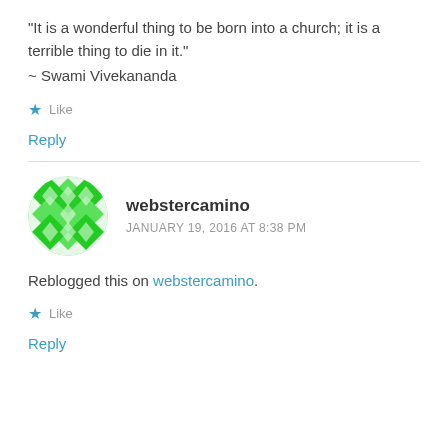“It is a wonderful thing to be born into a church; it is a terrible thing to die in it.”
~ Swami Vivekananda
★ Like
Reply
webstercamino
JANUARY 19, 2016 AT 8:38 PM
Reblogged this on webstercamino.
★ Like
Reply